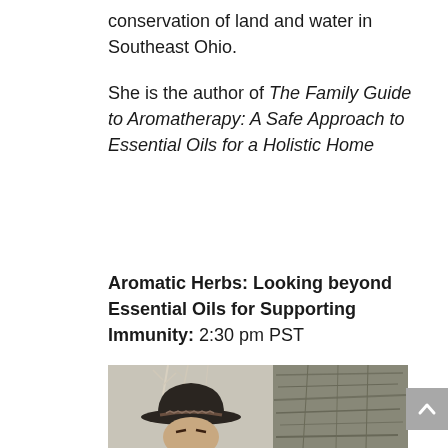conservation of land and water in Southeast Ohio.
She is the author of The Family Guide to Aromatherapy: A Safe Approach to Essential Oils for a Holistic Home
Aromatic Herbs: Looking beyond Essential Oils for Supporting Immunity: 2:30 pm PST
[Figure (photo): Portrait photo of a person wearing a dark wide-brim hat with a decorative band, outdoors with bare trees and a rocky surface in the background.]